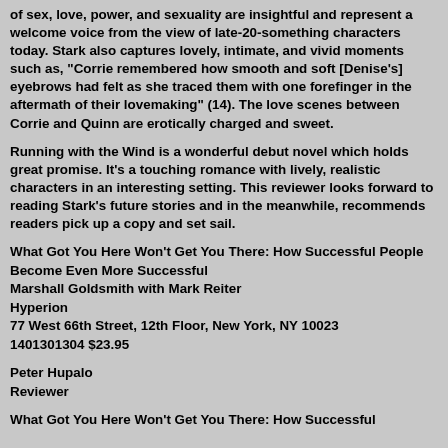of sex, love, power, and sexuality are insightful and represent a welcome voice from the view of late-20-something characters today. Stark also captures lovely, intimate, and vivid moments such as, "Corrie remembered how smooth and soft [Denise's] eyebrows had felt as she traced them with one forefinger in the aftermath of their lovemaking" (14). The love scenes between Corrie and Quinn are erotically charged and sweet.
Running with the Wind is a wonderful debut novel which holds great promise. It's a touching romance with lively, realistic characters in an interesting setting. This reviewer looks forward to reading Stark's future stories and in the meanwhile, recommends readers pick up a copy and set sail.
What Got You Here Won't Get You There: How Successful People Become Even More Successful
Marshall Goldsmith with Mark Reiter
Hyperion
77 West 66th Street, 12th Floor, New York, NY 10023
1401301304 $23.95
Peter Hupalo
Reviewer
What Got You Here Won't Get You There: How Successful